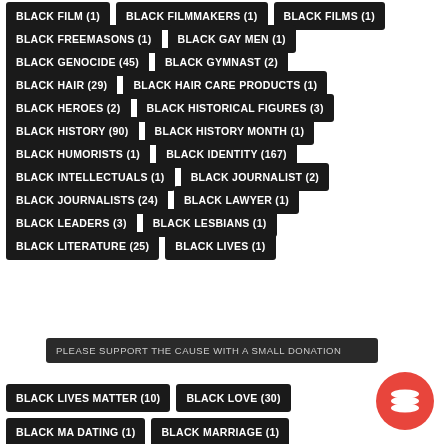BLACK FILM (1)
BLACK FILMMAKERS (1)
BLACK FILMS (1)
BLACK FREEMASONS (1)
BLACK GAY MEN (1)
BLACK GENOCIDE (45)
BLACK GYMNAST (2)
BLACK HAIR (29)
BLACK HAIR CARE PRODUCTS (1)
BLACK HEROES (2)
BLACK HISTORICAL FIGURES (3)
BLACK HISTORY (90)
BLACK HISTORY MONTH (1)
BLACK HUMORISTS (1)
BLACK IDENTITY (167)
BLACK INTELLECTUALS (1)
BLACK JOURNALIST (2)
BLACK JOURNALISTS (24)
BLACK LAWYER (1)
BLACK LEADERS (3)
BLACK LESBIANS (1)
BLACK LITERATURE (25)
BLACK LIVES (1)
PLEASE SUPPORT THE CAUSE WITH A SMALL DONATION
BLACK LIVES MATTER (10)
BLACK LOVE (30)
BLACK MA DATING (1)
BLACK MARRIAGE (1)